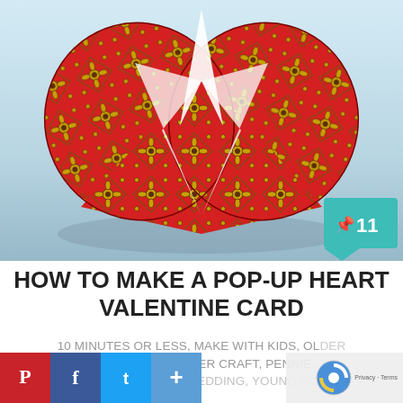[Figure (photo): A decorative pop-up heart Valentine card made from red patterned fabric/paper with ornate golden floral designs, photographed open against a light blue background. A teal speech-bubble badge shows a pin icon and the number 11.]
HOW TO MAKE A POP-UP HEART VALENTINE CARD
10 MINUTES OR LESS, MAKE WITH KIDS, OLDER KIDS / ADULTS, PAPER CRAFT, PENNIE... VALENTINE'S DAY, WEDDING, YOUNG KIDS